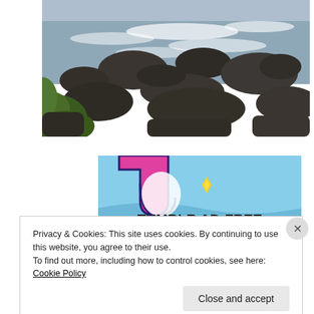[Figure (photo): Coastal rocky shoreline with rough ocean waves and green grass/vegetation in the foreground. Overcast sky.]
[Figure (advertisement): Tumblr AD-FREE banner advertisement with pink and blue cartoon graphic and yellow sparkle diamond shape.]
Privacy & Cookies: This site uses cookies. By continuing to use this website, you agree to their use.
To find out more, including how to control cookies, see here: Cookie Policy
Close and accept